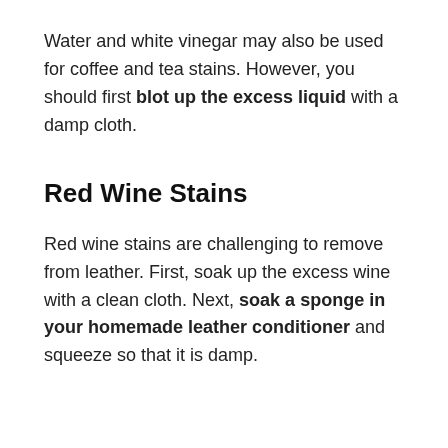Water and white vinegar may also be used for coffee and tea stains. However, you should first blot up the excess liquid with a damp cloth.
Red Wine Stains
Red wine stains are challenging to remove from leather. First, soak up the excess wine with a clean cloth. Next, soak a sponge in your homemade leather conditioner and squeeze so that it is damp.